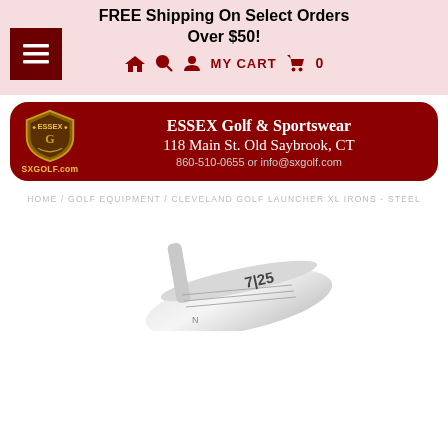FREE Shipping On Select Orders
Over $50!
MY CART 0
[Figure (logo): Essex Golf & Sportswear banner with shield logo, address: 118 Main St. Old Saybrook, CT, phone: 860-510-0655 or info@sxgolf.com, SXGOLF.com]
HOME / GOLF EQUIPMENT / CLEVELAND GOLF LAUNCHER XL IRONS - STEEL
[Figure (photo): Partial product photo of Cleveland Golf Launcher XL iron (steel), showing the club head from behind at an angle on a white background]